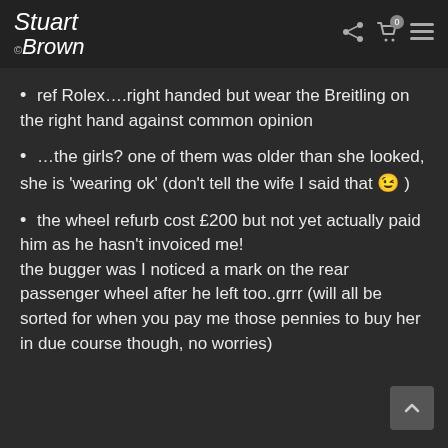Stuart ©Brown
ref Rolex….right handed but wear the Breitling on the right hand against common opinion
…the girls? one of them was older than she looked, she is 'wearing ok' (don't tell the wife I said that 😉 )
the wheel refurb cost £200 but not yet actually paid him as he hasn't invoiced me!
the bugger was I noticed a mark on the rear passenger wheel after he left too..grrr (will all be sorted for when you pay me those pennies to buy her in due course though, no worries)